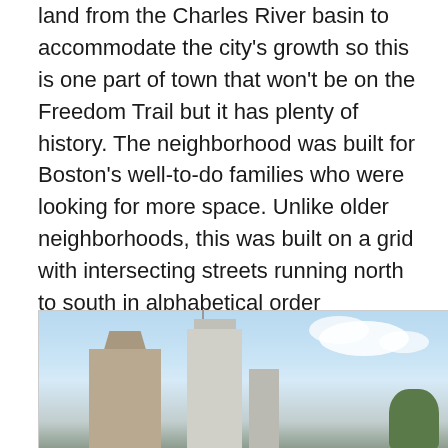land from the Charles River basin to accommodate the city's growth so this is one part of town that won't be on the Freedom Trail but it has plenty of history. The neighborhood was built for Boston's well-to-do families who were looking for more space. Unlike older neighborhoods, this was built on a grid with intersecting streets running north to south in alphabetical order (Arlington, Berkeley, Clarendon Street, etc…). The massive landfill was completed by 1900 and wealthy families flocked to these new Victorian brownstones like The Gibson House, The Ames Mansion, and The Ayer Mansion to name a few.
[Figure (photo): Photo of Boston buildings/skyline with two large buildings visible — a tan/beige stone building on the left and a modern glass tower in the center — against a blue sky with clouds, with trees visible at the right edge.]